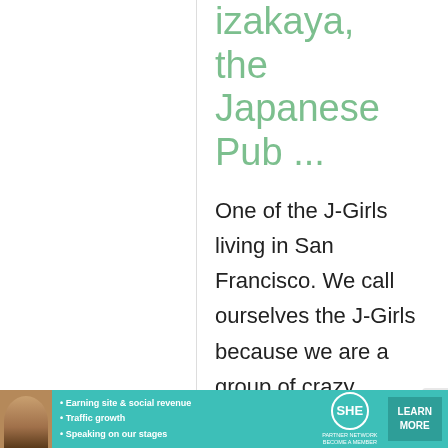izakaya, the Japanese Pub ...
One of the J-Girls living in San Francisco. We call ourselves the J-Girls because we are a group of crazy Japanese American women
[Figure (infographic): SHE Partner Network advertisement banner with woman photo, bullet points about earning site & social revenue, traffic growth, speaking on stages, SHE logo, and LEARN MORE button]